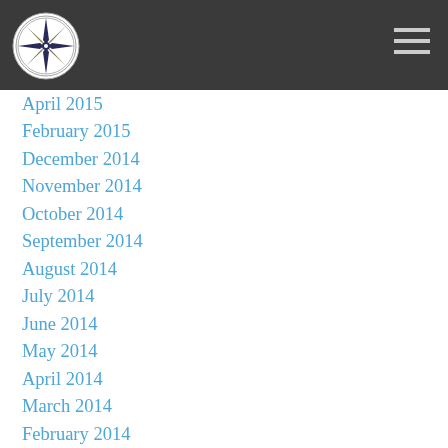April 2015
February 2015
December 2014
November 2014
October 2014
September 2014
August 2014
July 2014
June 2014
May 2014
April 2014
March 2014
February 2014
January 2014
December 2013
November 2013
October 2013